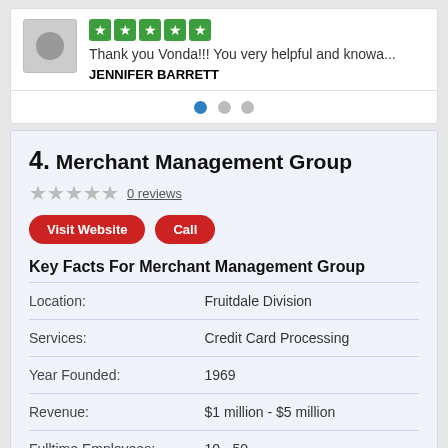[Figure (screenshot): User avatar placeholder image with grey circle icon]
Thank you Vonda!!! You very helpful and knowa...
JENNIFER BARRETT
4. Merchant Management Group
0 reviews
Key Facts For Merchant Management Group
|  |  |
| --- | --- |
| Location: | Fruitdale Division |
| Services: | Credit Card Processing |
| Year Founded: | 1969 |
| Revenue: | $1 million - $5 million |
| Fulltime Employees: | 10 - 50 |